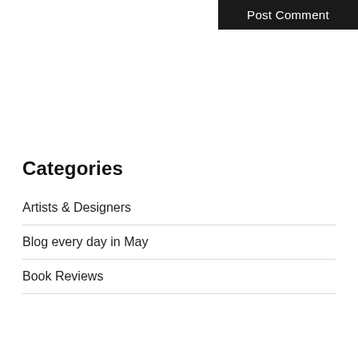[Figure (other): Post Comment button — black rectangular button with white text in the top-right corner]
Categories
Artists & Designers
Blog every day in May
Book Reviews